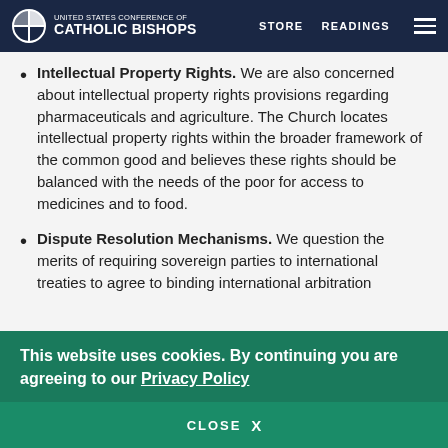UNITED STATES CONFERENCE OF CATHOLIC BISHOPS | STORE | READINGS
Intellectual Property Rights. We are also concerned about intellectual property rights provisions regarding pharmaceuticals and agriculture. The Church locates intellectual property rights within the broader framework of the common good and believes these rights should be balanced with the needs of the poor for access to medicines and to food.
Dispute Resolution Mechanisms. We question the merits of requiring sovereign parties to international treaties to agree to binding international arbitration
This website uses cookies. By continuing you are agreeing to our Privacy Policy
CLOSE X